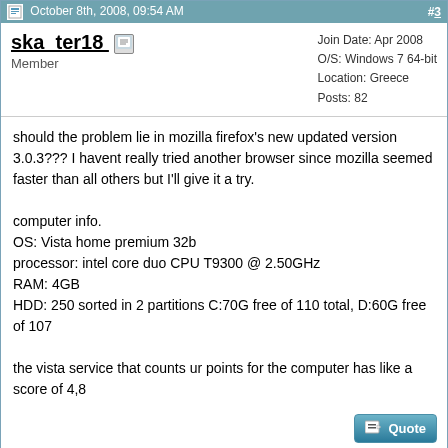October 8th, 2008, 09:54 AM  #3
ska_ter18  Member  |  Join Date: Apr 2008  O/S: Windows 7 64-bit  Location: Greece  Posts: 82
should the problem lie in mozilla firefox's new updated version 3.0.3??? I havent really tried another browser since mozilla seemed faster than all others but I'll give it a try.

computer info.
OS: Vista home premium 32b
processor: intel core duo CPU T9300 @ 2.50GHz
RAM: 4GB
HDD: 250 sorted in 2 partitions C:70G free of 110 total, D:60G free of 107

the vista service that counts ur points for the computer has like a score of 4,8
October 8th, 2008, 11:25 AM  #4
strjms72  New Member  |  Join Date: Aug 2008  Posts: 18
Quote:
Originally Posted by ska_ter18
I live in student halls.. (but I dont think this is the